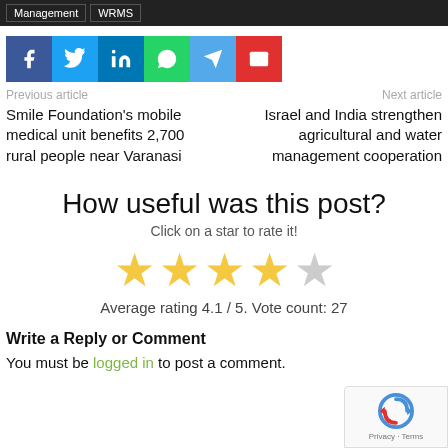Management   WRMS
[Figure (infographic): Social sharing buttons row: Facebook (dark blue), Twitter (light blue), LinkedIn (blue), WhatsApp (green), Telegram (sky blue), Email (red)]
Previous article
Next article
Smile Foundation's mobile medical unit benefits 2,700 rural people near Varanasi
Israel and India strengthen agricultural and water management cooperation
How useful was this post?
Click on a star to rate it!
[Figure (infographic): 4 filled gold stars and 1 empty grey star rating display]
Average rating 4.1 / 5. Vote count: 27
Write a Reply or Comment
You must be logged in to post a comment.